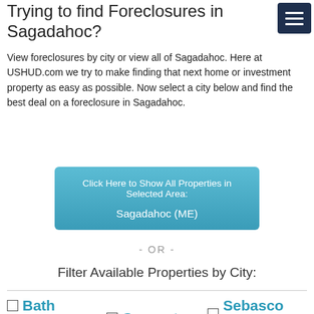Trying to find Foreclosures in Sagadahoc?
View foreclosures by city or view all of Sagadahoc. Here at USHUD.com we try to make finding that next home or investment property as easy as possible. Now select a city below and find the best deal on a foreclosure in Sagadahoc.
Click Here to Show All Properties in Selected Area:
Sagadahoc (ME)
- OR -
Filter Available Properties by City:
Bath
Bowdoin
Georgetown
Sebasco Estates